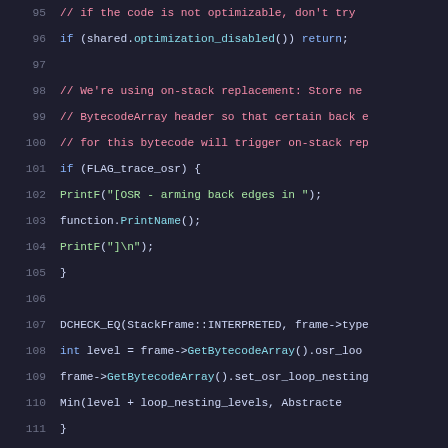[Figure (screenshot): Source code listing lines 95-116 of a C++ file showing RuntimeProfiler OSR (on-stack replacement) logic with syntax highlighting on a dark background.]